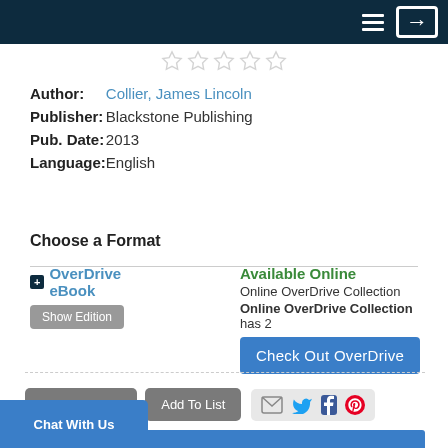Navigation bar with menu and login icons
[Figure (other): Five empty star rating icons in a row]
| Author: | Collier, James Lincoln |
| Publisher: | Blackstone Publishing |
| Pub. Date: | 2013 |
| Language: | English |
Choose a Format
OverDrive eBook — Available Online — Online OverDrive Collection — Online OverDrive Collection has 2 — Check Out OverDrive — Show Edition
Add a Review  Add To List  [social icons: email, twitter, facebook, pinterest]
▼ Description
At fourteen, Fergy is tired of his family's life style. He's tired of living in a van with his parents, J. P. and Gussie, and his younger sister, Ooma. He's sick of peddling honey and pamphlets of his And most of all he hates stealing things, even it's all right to "reclaim" necessities from
Chat With Us